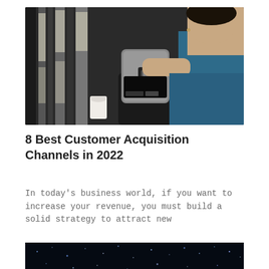[Figure (photo): A smiling woman in a teal dress holding or standing near a tablet/POS device with a Square reader, against a backdrop of a building interior with vertical columns and a white cup visible.]
8 Best Customer Acquisition Channels in 2022
In today's business world, if you want to increase your revenue, you must build a solid strategy to attract new
[Figure (photo): A dark night sky or galaxy-like background with scattered blue and white light dots, partially visible at the bottom of the page.]